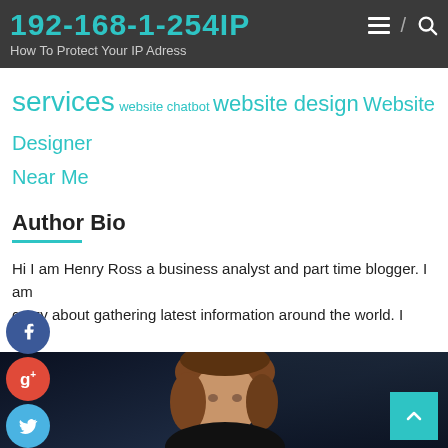192-168-1-254IP — How To Protect Your IP Adress
services  website chatbot  website design  Website Designer Near Me
Author Bio
Hi I am Henry Ross a business analyst and part time blogger. I am crazy about gathering latest information around the world. I have started this blog to share my knowledge & experience.
[Figure (photo): Portrait photo of a woman with brown hair against dark curtain background]
[Figure (other): Social media share buttons: Facebook (blue), Google+ (red), Twitter (light blue), Add/Plus (light blue)]